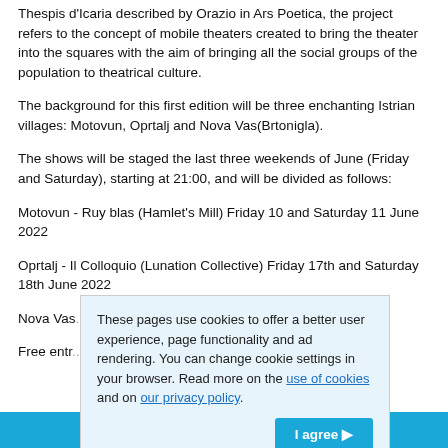Thespis d'Icaria described by Orazio in Ars Poetica, the project refers to the concept of mobile theaters created to bring the theater into the squares with the aim of bringing all the social groups of the population to theatrical culture.
The background for this first edition will be three enchanting Istrian villages: Motovun, Oprtalj and Nova Vas(Brtonigla).
The shows will be staged the last three weekends of June (Friday and Saturday), starting at 21:00, and will be divided as follows:
Motovun - Ruy blas (Hamlet's Mill) Friday 10 and Saturday 11 June 2022
Oprtalj - Il Colloquio (Lunation Collective) Friday 17th and Saturday 18th June 2022
Nova Vas ... 22 and Saturday ...
Free entr...
These pages use cookies to offer a better user experience, page functionality and ad rendering. You can change cookie settings in your browser. Read more on the use of cookies and on our privacy policy.
My Itinerary